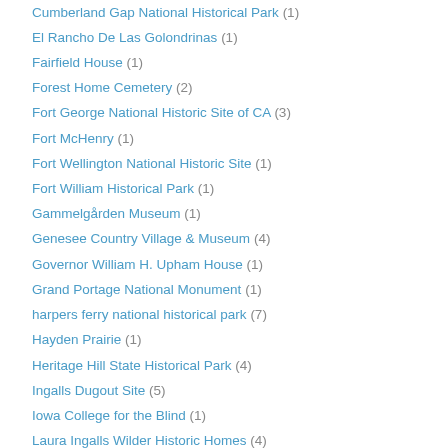Cumberland Gap National Historical Park (1)
El Rancho De Las Golondrinas (1)
Fairfield House (1)
Forest Home Cemetery (2)
Fort George National Historic Site of CA (3)
Fort McHenry (1)
Fort Wellington National Historic Site (1)
Fort William Historical Park (1)
Gammelgården Museum (1)
Genesee Country Village & Museum (4)
Governor William H. Upham House (1)
Grand Portage National Monument (1)
harpers ferry national historical park (7)
Hayden Prairie (1)
Heritage Hill State Historical Park (4)
Ingalls Dugout Site (5)
Iowa College for the Blind (1)
Laura Ingalls Wilder Historic Homes (4)
Laura Ingalls Wilder Little House Wayside (4)
Laura Ingalls Wilder Park & Museum (6)